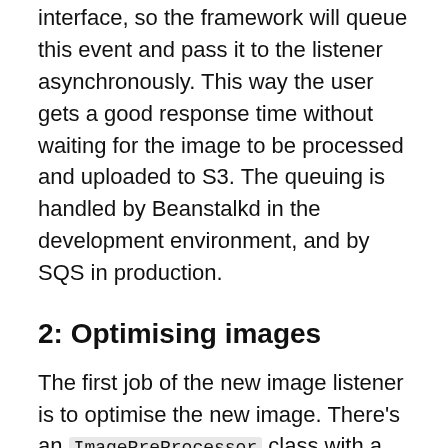interface, so the framework will queue this event and pass it to the listener asynchronously. This way the user gets a good response time without waiting for the image to be processed and uploaded to S3. The queuing is handled by Beanstalkd in the development environment, and by SQS in production.
2: Optimising images
The first job of the new image listener is to optimise the new image. There's an ImagePreProcessor class with a collection of optimisers to do that, using Imagick to make